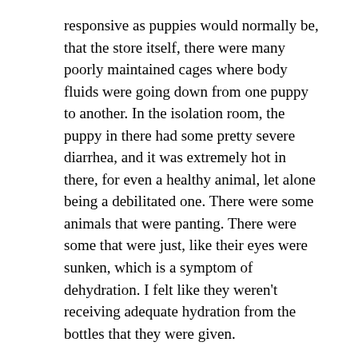responsive as puppies would normally be, that the store itself, there were many poorly maintained cages where body fluids were going down from one puppy to another. In the isolation room, the puppy in there had some pretty severe diarrhea, and it was extremely hot in there, for even a healthy animal, let alone being a debilitated one. There were some animals that were panting. There were some that were just, like their eyes were sunken, which is a symptom of dehydration. I felt like they weren't receiving adequate hydration from the bottles that they were given.
R. 87–12 (Walsh Dep. at 156–57) (Page ID # 2816).
Walsh spoke with Christopher Brooks, Pet Supply vice president, and explained that she was going to remove the animals from the store. R. 70–7 (Walsh Aff. at ¶ 29) (Page ID # 1609). Pet Supply proceeded to file an emergency petition for injunctive relief in Hamilton County Circuit Court to